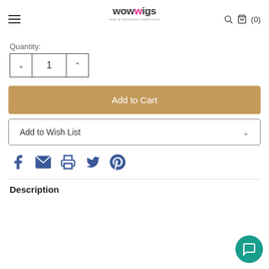wowwigs - wigs & hairpieces superstore
Quantity:
1
Add to Cart
Add to Wish List
[Figure (infographic): Social sharing icons: Facebook, Email, Print, Twitter, Pinterest]
Description